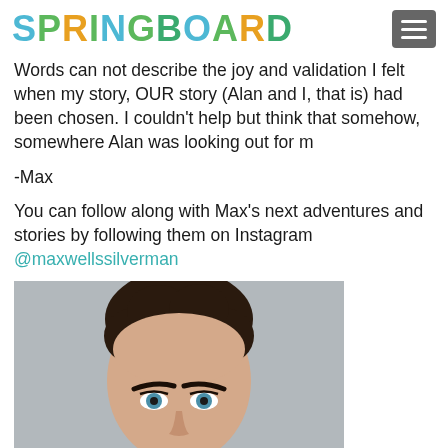SPRINGBOARD
Words can not describe the joy and validation I felt when my story, OUR story (Alan and I, that is) had been chosen. I couldn’t help but think that somehow, somewhere Alan was looking out for m
-Max
You can follow along with Max’s next adventures and stories by following them on Instagram @maxwellssilverman
[Figure (photo): Headshot of a person with short dark curly hair and blue eyes against a grey background]